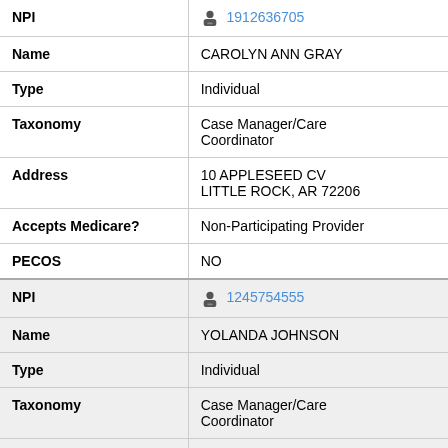| Field | Value |
| --- | --- |
| NPI | 1912636705 |
| Name | CAROLYN ANN GRAY |
| Type | Individual |
| Taxonomy | Case Manager/Care Coordinator |
| Address | 10 APPLESEED CV LITTLE ROCK, AR 72206 |
| Accepts Medicare? | Non-Participating Provider |
| PECOS | NO |
| NPI | 1245754555 |
| Name | YOLANDA JOHNSON |
| Type | Individual |
| Taxonomy | Case Manager/Care Coordinator |
| Address | 1100 N UNIVERSITY SUITE 200 |